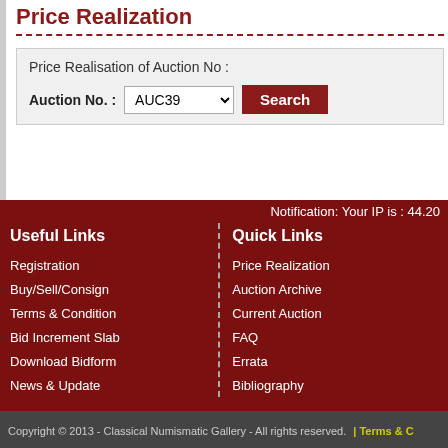Price Realization
Price Realisation of Auction No :
Auction No. : AUC39 Search
Notification: Your IP is : 44.20
Useful Links
Quick Links
Registration
Buy/Sell/Consign
Terms & Condition
Bid Increment Slab
Download Bidform
News & Update
Price Realization
Auction Archive
Current Auction
FAQ
Errata
Bibliography
Copyright © 2013 - Classical Numismatic Gallery - All rights reserved. | Terms & C